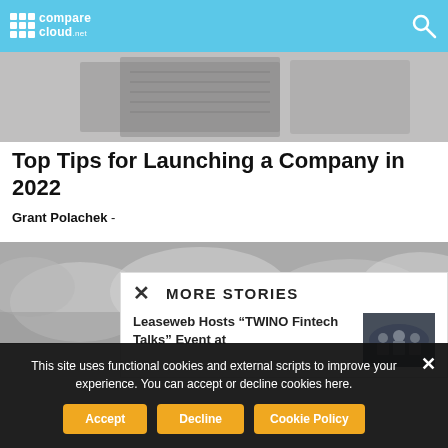comparecloud.net
[Figure (photo): Grayscale close-up photo of a spiral notebook and what appears to be a tablet or device on a desk]
Top Tips for Launching a Company in 2022
Grant Polachek -
[Figure (photo): Grayscale photo of cloudy sky]
MORE STORIES
Leaseweb Hosts “TWINO Fintech Talks” Event at
[Figure (photo): Small thumbnail photo of people at an event on a stage with blue lighting]
This site uses functional cookies and external scripts to improve your experience. You can accept or decline cookies here.